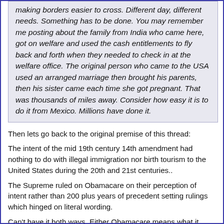making borders easier to cross. Different day, different needs. Something has to be done. You may remember me posting about the family from India who came here, got on welfare and used the cash entitlements to fly back and forth when they needed to check in at the welfare office. The original person who came to the USA used an arranged marriage then brought his parents, then his sister came each time she got pregnant. That was thousands of miles away. Consider how easy it is to do it from Mexico. Millions have done it.
Then lets go back to the original premise of this thread:
The intent of the mid 19th century 14th amendment had nothing to do with illegal immigration nor birth tourism to the United States during the 20th and 21st centuries..
The Supreme ruled on Obamacare on their perception of intent rather than 200 plus years of precedent setting rulings which hinged on literal wording.
Can't have it both ways. Either Obamacare means what it says or 100 plus years of birthright citizenship practice is invalidated.
Freibier gab's gestern
Hay burros en el maiz